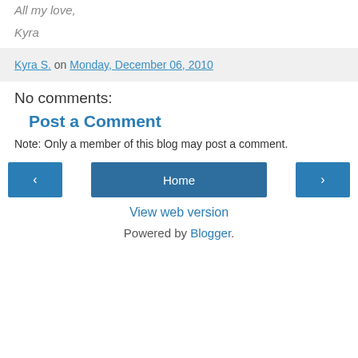All my love,
Kyra
Kyra S. on Monday, December 06, 2010
No comments:
Post a Comment
Note: Only a member of this blog may post a comment.
Home
View web version
Powered by Blogger.